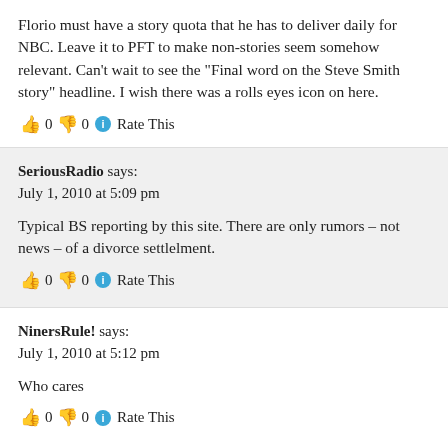Florio must have a story quota that he has to deliver daily for NBC. Leave it to PFT to make non-stories seem somehow relevant. Can’t wait to see the “Final word on the Steve Smith story” headline. I wish there was a rolls eyes icon on here.
👍 0 👎 0 ℹ️ Rate This
SeriousRadio says:
July 1, 2010 at 5:09 pm
Typical BS reporting by this site. There are only rumors – not news – of a divorce settlelment.
👍 0 👎 0 ℹ️ Rate This
NinersRule! says:
July 1, 2010 at 5:12 pm
Who cares
👍 0 👎 0 ℹ️ Rate This